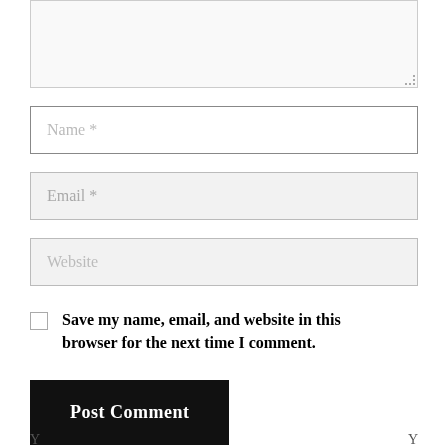[Figure (screenshot): Comment form textarea (partially visible at top), followed by Name, Email, Website input fields, a checkbox with label 'Save my name, email, and website in this browser for the next time I comment.', and a Post Comment button.]
Name *
Email *
Website
Save my name, email, and website in this browser for the next time I comment.
Post Comment